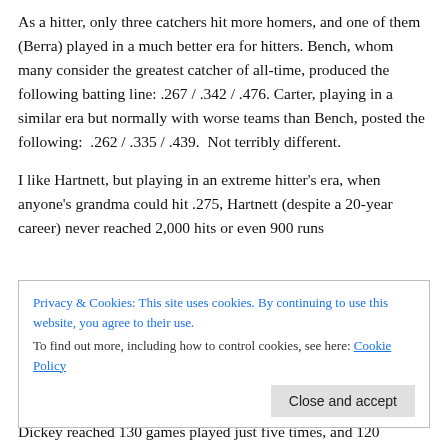As a hitter, only three catchers hit more homers, and one of them (Berra) played in a much better era for hitters. Bench, whom many consider the greatest catcher of all-time, produced the following batting line: .267 / .342 / .476. Carter, playing in a similar era but normally with worse teams than Bench, posted the following: .262 / .335 / .439. Not terribly different.
I like Hartnett, but playing in an extreme hitter's era, when anyone's grandma could hit .275, Hartnett (despite a 20-year career) never reached 2,000 hits or even 900 runs
Privacy & Cookies: This site uses cookies. By continuing to use this website, you agree to their use.
To find out more, including how to control cookies, see here: Cookie Policy
Dickey reached 130 games played just five times, and 120